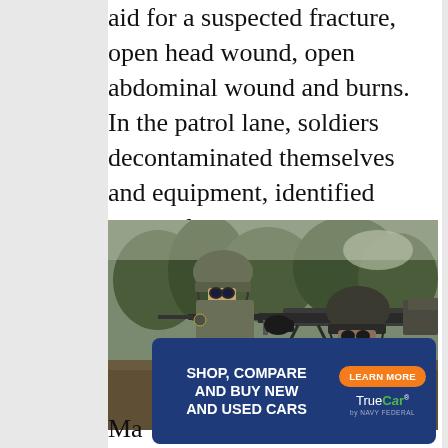aid for a suspected fracture, open head wound, open abdominal wound and burns. In the patrol lane, soldiers decontaminated themselves and equipment, identified terrain features on a map, and applied camouflage.
[Figure (photo): Two soldiers in camouflage uniforms and helmets operating a heavy machine gun mounted on a bipod, outdoors with trees in background.]
Ma...